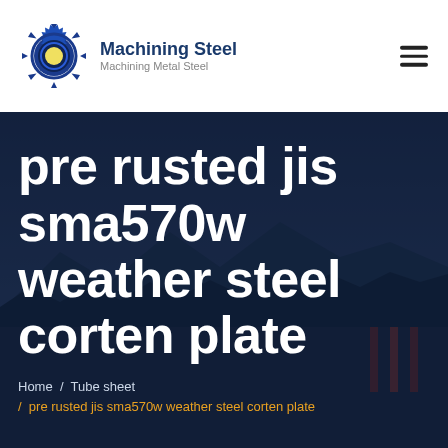Machining Steel — Machining Metal Steel
pre rusted jis sma570w weather steel corten plate
Home / Tube sheet / pre rusted jis sma570w weather steel corten plate